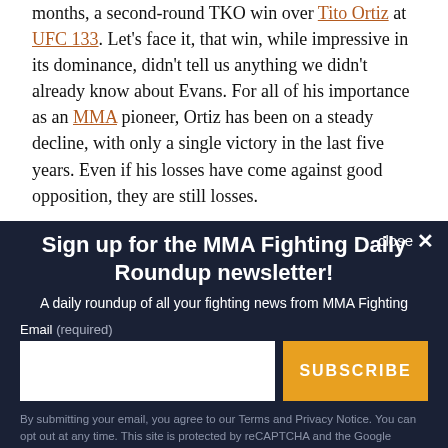months, a second-round TKO win over Tito Ortiz at UFC 133. Let's face it, that win, while impressive in its dominance, didn't tell us anything we didn't already know about Evans. For all of his importance as an MMA pioneer, Ortiz has been on a steady decline, with only a single victory in the last five years. Even if his losses have come against good opposition, they are still losses.
close ✕
Sign up for the MMA Fighting Daily Roundup newsletter!
A daily roundup of all your fighting news from MMA Fighting
Email (required)
SUBSCRIBE
By submitting your email, you agree to our Terms and Privacy Notice. You can opt out at any time. This site is protected by reCAPTCHA and the Google Privacy Policy and Terms of Service apply.